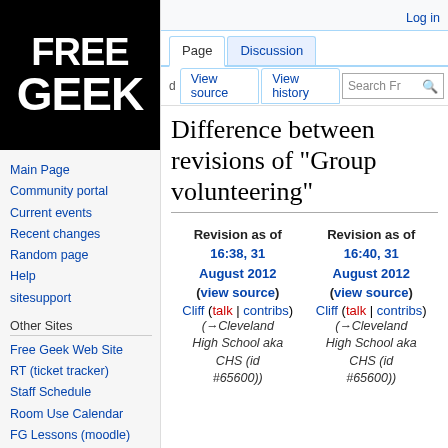[Figure (logo): Free Geek logo: black background with white bold text FREE on top and GEEK below]
Main Page
Community portal
Current events
Recent changes
Random page
Help
sitesupport
Other Sites
Free Geek Web Site
RT (ticket tracker)
Staff Schedule
Room Use Calendar
FG Lessons (moodle)
Log in
Difference between revisions of "Group volunteering"
| Revision as of 16:38, 31 August 2012 (view source) | Revision as of 16:40, 31 August 2012 (view source) |
| --- | --- |
| Cliff (talk | contribs) | Cliff (talk | contribs) |
| (→Cleveland High School aka CHS (id #65600)) | (→Cleveland High School aka CHS (id #65600)) |